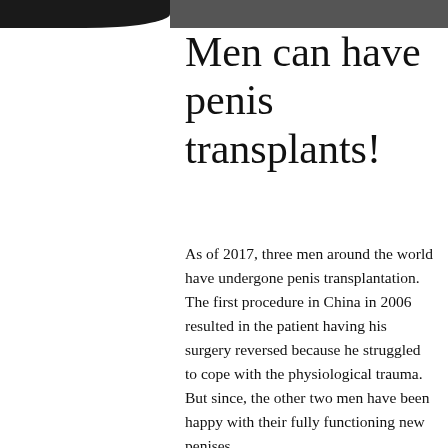[Figure (photo): Partial view of two photos at top of page — left shows a dark circular image (person), right shows another image cropped at top]
Men can have penis transplants!
As of 2017, three men around the world have undergone penis transplantation. The first procedure in China in 2006 resulted in the patient having his surgery reversed because he struggled to cope with the physiological trauma. But since, the other two men have been happy with their fully functioning new penises.